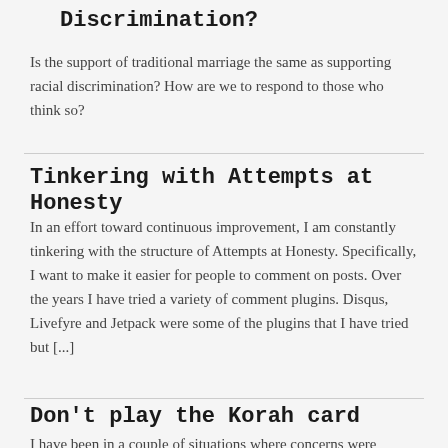Discrimination?
Is the support of traditional marriage the same as supporting racial discrimination? How are we to respond to those who think so?
Tinkering with Attempts at Honesty
In an effort toward continuous improvement, I am constantly tinkering with the structure of Attempts at Honesty. Specifically, I want to make it easier for people to comment on posts. Over the years I have tried a variety of comment plugins. Disqus, Livefyre and Jetpack were some of the plugins that I have tried but [...]
Don't play the Korah card
I have been in a couple of situations where concerns were